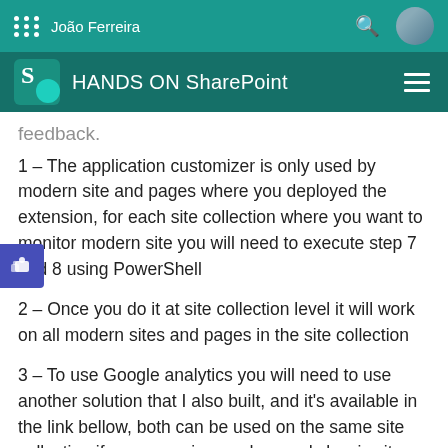João Ferreira
HANDS ON SharePoint
feedback.
1 – The application customizer is only used by modern site and pages where you deployed the extension, for each site collection where you want to monitor modern site you will need to execute step 7 and 8 using PowerShell
2 – Once you do it at site collection level it will work on all modern sites and pages in the site collection
3 – To use Google analytics you will need to use another solution that I also built, and it's available in the link bellow, both can be used on the same site collection if you are using modern and classic site together.
http://sharepoint.handsontek.net/2017/02/26/how-